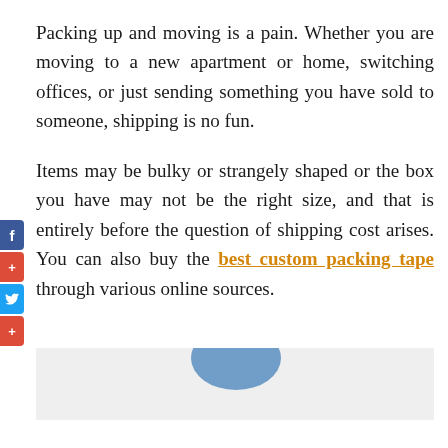Packing up and moving is a pain. Whether you are moving to a new apartment or home, switching offices, or just sending something you have sold to someone, shipping is no fun.
Items may be bulky or strangely shaped or the box you have may not be the right size, and that is entirely before the question of shipping cost arises. You can also buy the best custom packing tape through various online sources.
[Figure (photo): Partial image strip at the bottom of the page showing a light grey background with a small blue curved shape visible]